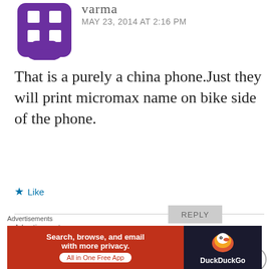[Figure (illustration): Purple avatar icon with grid/hashtag pattern on a purple rounded square shape]
varma
MAY 23, 2014 AT 2:16 PM
That is a purely a china phone.Just they will print micromax name on bike side of the phone.
★ Like
REPLY
Advertisements
[Figure (logo): Longreads advertisement banner - red background with Longreads logo and text]
[Figure (infographic): DuckDuckGo advertisement - Search, browse, and email with more privacy. All in One Free App]
Advertisements